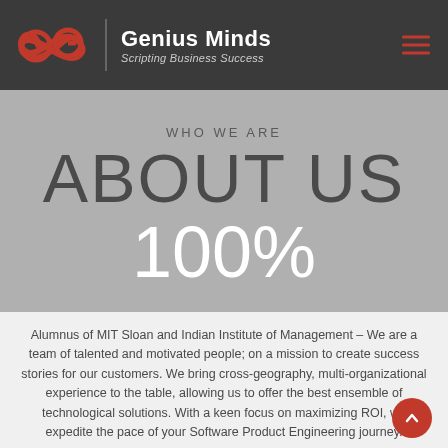Genius Minds — Scripting Business Success
WHO WE ARE
ABOUT US
100%
Alumnus of MIT Sloan and Indian Institute of Management – We are a team of talented and motivated people; on a mission to create success stories for our customers. We bring cross-geography, multi-organizational experience to the table, allowing us to offer the best ensemble of technological solutions. With a keen focus on maximizing ROI, we expedite the pace of your Software Product Engineering journey.